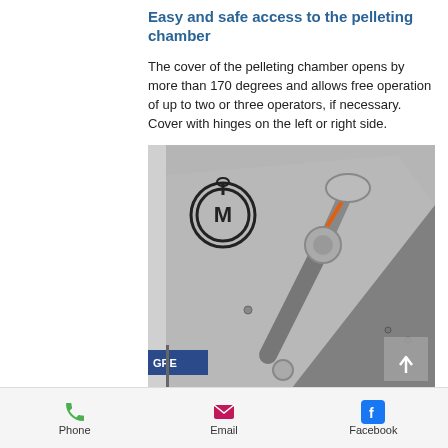Easy and safe access to the pelleting chamber
The cover of the pelleting chamber opens by more than 170 degrees and allows free operation of up to two or three operators, if necessary. Cover with hinges on the left or right side.
[Figure (photo): Close-up photo of a pelleting machine chamber cover hinge mechanism, showing a metal actuator arm and hinge assembly on a grey industrial machine. A circular logo with 'M' is visible in the upper left. A scroll-to-top arrow button appears in the lower right corner of the image.]
Phone  Email  Facebook